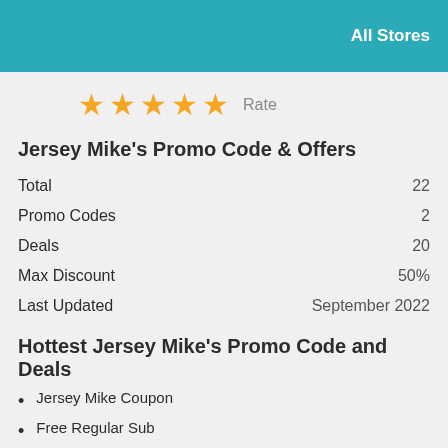All Stores
[Figure (other): Five gold star rating icons with 'Rate' label]
Jersey Mike's Promo Code & Offers
| Total | 22 |
| Promo Codes | 2 |
| Deals | 20 |
| Max Discount | 50% |
| Last Updated | September 2022 |
Hottest Jersey Mike's Promo Code and Deals
Jersey Mike Coupon
Free Regular Sub
Additional 25% Reduction Mobile Orders + Free Delivery On $15